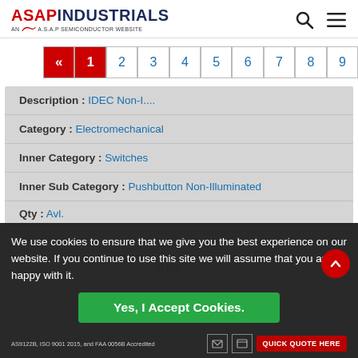[Figure (logo): ASAP Industrials logo with red ASAP text and dark blue INDUSTRIALS text, subtitle reads AN A.S.A.P SEMICONDUCTOR WEBSITE with red swoosh]
[Figure (infographic): Pagination bar with back arrow (red), page 1 (red/active), pages 2-9 (blue on white)]
| Description : | IDEC Non-I.... |
| Category : | Electromechanical |
| Inner Category : | Switches |
| Inner Sub Category : | Pushbutton Non-Illuminated |
| Qty : | Avl. |
We use cookies to ensure that we give you the best experience on our website. If you continue to use this site we will assume that you are happy with it.
AS9122B, ISO 9001 2015, and FAA 0056B Accredited
Yes, I Accept Cookies.
QUICK QUOTE HERE